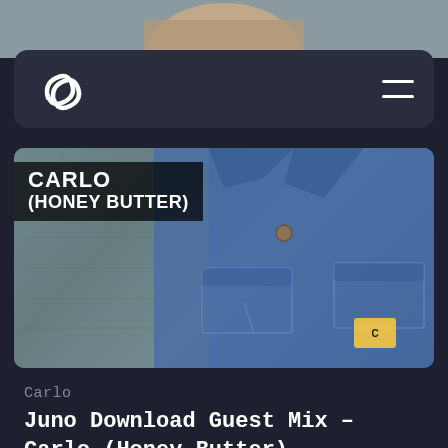[Figure (screenshot): Top portion of a person's photo, cropped, showing upper head area against dark background]
[Figure (screenshot): Navigation bar with Squarespace-like logo on left and hamburger menu on right, on dark rounded rectangle background]
[Figure (photo): Photo of Carlo (Honey Butter) wearing a denim/Carhartt jacket, with stone wall in background. Overlay text reads CARLO (HONEY BUTTER)]
Carlo
Juno Download Guest Mix – Carlo (Honey Butter)